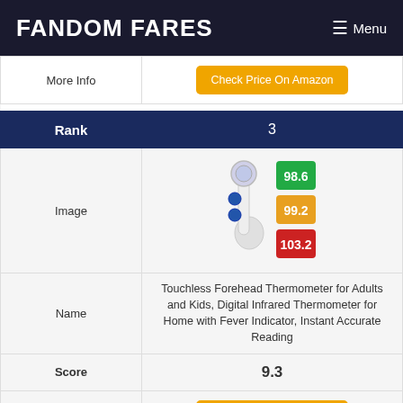FANDOM FARES   Menu
| Label | Value |
| --- | --- |
| More Info | Check Price On Amazon |
| Rank | 3 |
| Image | [Touchless Forehead Thermometer product image] |
| Name | Touchless Forehead Thermometer for Adults and Kids, Digital Infrared Thermometer for Home with Fever Indicator, Instant Accurate Reading |
| Score | 9.3 |
| More Info | Check Price On Amazon |